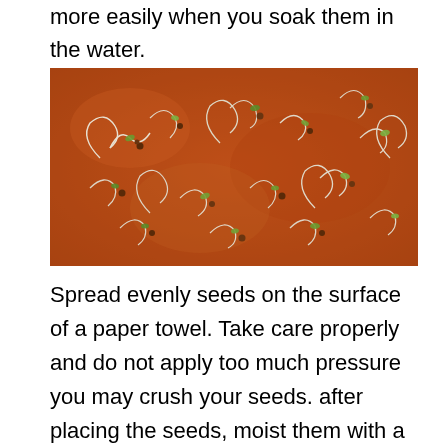more easily when you soak them in the water.
[Figure (photo): Close-up photograph of germinating seeds with white sprouts and green shoots spread across a reddish-brown surface, showing sprouted seeds at various stages of germination.]
Spread evenly seeds on the surface of a paper towel. Take care properly and do not apply too much pressure you may crush your seeds. after placing the seeds, moist them with a spray bottle and place another tissue over it.